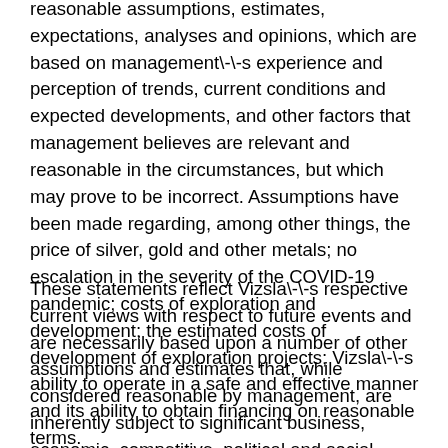reasonable assumptions, estimates, expectations, analyses and opinions, which are based on management\-\-s experience and perception of trends, current conditions and expected developments, and other factors that management believes are relevant and reasonable in the circumstances, but which may prove to be incorrect. Assumptions have been made regarding, among other things, the price of silver, gold and other metals; no escalation in the severity of the COVID-19 pandemic; costs of exploration and development; the estimated costs of development of exploration projects; Vizsla\-\-s ability to operate in a safe and effective manner and its ability to obtain financing on reasonable terms.
These statements reflect Vizsla\-\-s respective current views with respect to future events and are necessarily based upon a number of other assumptions and estimates that, while considered reasonable by management, are inherently subject to significant business, economic, competitive, political and social uncertainties and contingencies. Many